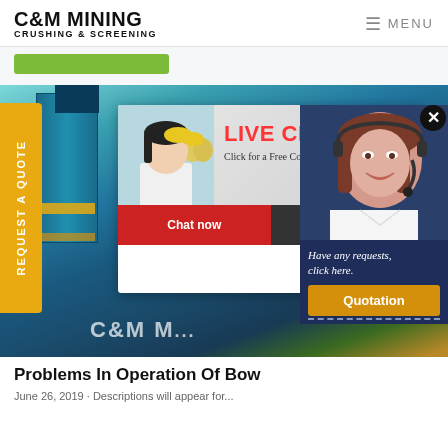C&M MINING CRUSHING & SCREENING | MENU
[Figure (screenshot): Screenshot of C&M Mining Crushing & Screening website showing industrial machinery image with overlaid Live Chat popup and a request/quotation widget on the right side. The Live Chat popup shows workers with hard hats, 'LIVE CHAT' in red, 'Click for a Free Consultation', 'Chat now' (red) and 'Chat later' (dark) buttons. The right widget shows a female customer service representative with headset, 'Have any requests, click here.' text and a 'Quotation' button on a navy background.]
Problems In Operation Of Bow
June 26, 2019 Descriptions will appear for...